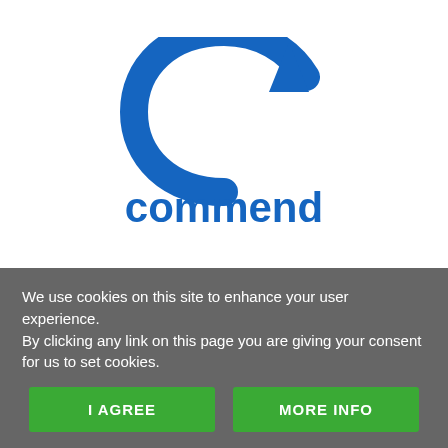[Figure (logo): Commend company logo: blue circular arrow with upward arrowhead and the word 'commend' in blue below]
We use cookies on this site to enhance your user experience.
By clicking any link on this page you are giving your consent for us to set cookies.
I AGREE
MORE INFO